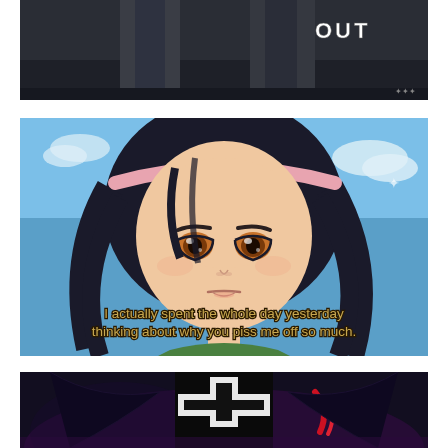[Figure (illustration): Anime screenshot (top): dark-toned scene showing lower body of a figure in dark clothing with subtitle text 'OUT' in white letters on upper right]
[Figure (illustration): Anime screenshot (middle): close-up of an anime girl character with dark hair, pink headband, amber/golden eyes, against blue sky with clouds. Subtitle reads: 'I actually spent the whole day yesterday thinking about why you piss me off so much.']
[Figure (illustration): Anime screenshot (bottom, partially visible): dark-themed anime character in black and white outfit with red accents, on dark background]